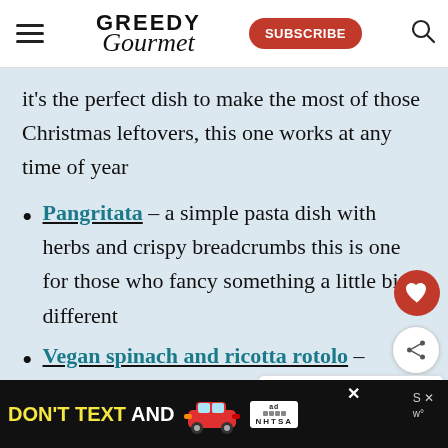Greedy Gourmet
it's the perfect dish to make the most of those Christmas leftovers, this one works at any time of year
Pangritata – a simple pasta dish with herbs and crispy breadcrumbs this is one for those who fancy something a little bit different
Vegan spinach and ricotta rotolo –
[Figure (screenshot): Ad banner: DON'T TEXT AND [car graphic] with NHTSA logo on black background]